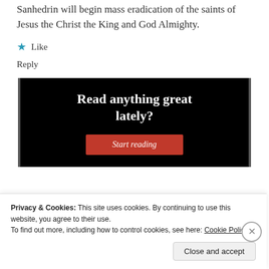Sanhedrin will begin mass eradication of the saints of Jesus the Christ the King and God Almighty.
★ Like
Reply
[Figure (infographic): Black promotional banner with white bold text 'Read anything great lately?' and a red 'Start reading' button]
Privacy & Cookies: This site uses cookies. By continuing to use this website, you agree to their use.
To find out more, including how to control cookies, see here: Cookie Policy
Close and accept